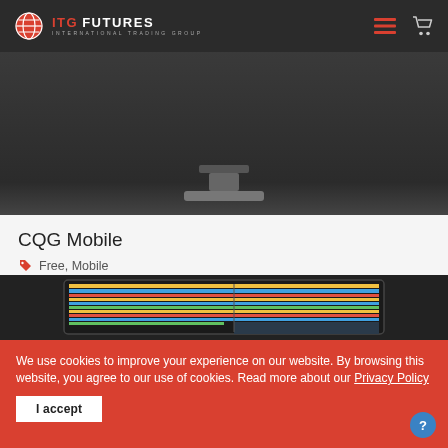ITG FUTURES — INTERNATIONAL TRADING GROUP
[Figure (screenshot): Top portion of a dark monitor/iMac showing the ITG Futures website navigation bar with hamburger menu icon and shopping cart icon on dark background]
CQG Mobile
Free, Mobile
[Figure (screenshot): Dark-framed monitor showing a trading platform interface with colorful grid/spreadsheet of market data and order panels]
We use cookies to improve your experience on our website. By browsing this website, you agree to our use of cookies. Read more about our Privacy Policy
I accept